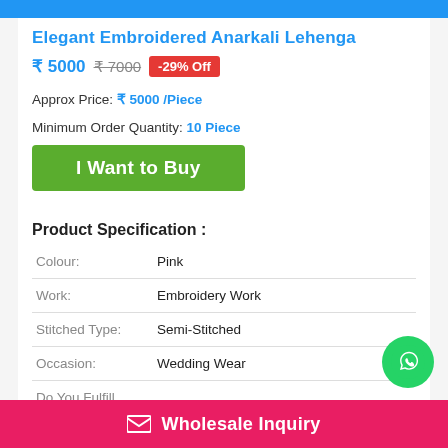Elegant Embroidered Anarkali Lehenga
₹ 5000 ₹ 7000 -29% Off
Approx Price: ₹ 5000 /Piece
Minimum Order Quantity: 10 Piece
I Want to Buy
Product Specification :
|  |  |
| --- | --- |
| Colour: | Pink |
| Work: | Embroidery Work |
| Stitched Type: | Semi-Stitched |
| Occasion: | Wedding Wear |
| Do You Fulfill Sample |  |
Wholesale Inquiry